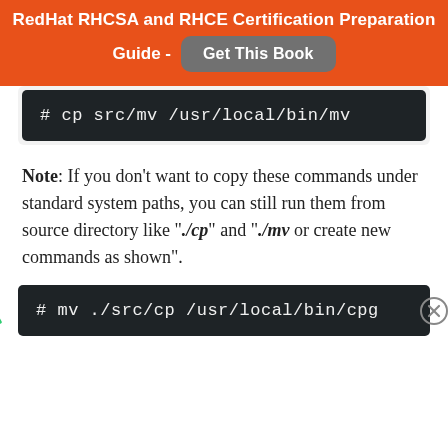RedHat RHCSA and RHCE Certification Preparation Guide - Get This Book
# cp src/mv /usr/local/bin/mv
Note: If you don't want to copy these commands under standard system paths, you can still run them from source directory like "./cp" and "./mv or create new commands as shown".
# mv ./src/cp /usr/local/bin/cpg